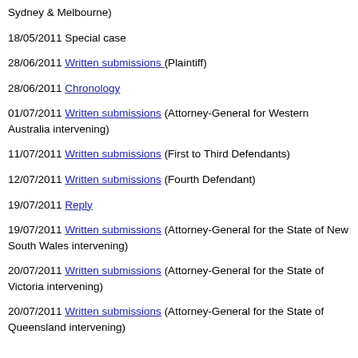Sydney & Melbourne)
18/05/2011 Special case
28/06/2011 Written submissions (Plaintiff)
28/06/2011 Chronology
01/07/2011 Written submissions (Attorney-General for Western Australia intervening)
11/07/2011 Written submissions (First to Third Defendants)
12/07/2011 Written submissions (Fourth Defendant)
19/07/2011 Reply
19/07/2011 Written submissions (Attorney-General for the State of New South Wales intervening)
20/07/2011 Written submissions (Attorney-General for the State of Victoria intervening)
20/07/2011 Written submissions (Attorney-General for the State of Queensland intervening)